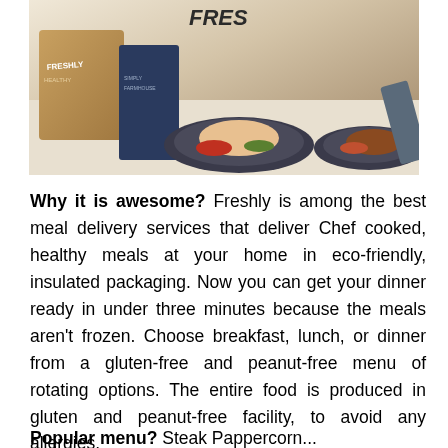[Figure (photo): Photo of meal delivery box labeled 'FRESHLY HEALTHY' with plated meals including chicken and vegetables on dark plates, with cookbooks in the background]
Why it is awesome? Freshly is among the best meal delivery services that deliver Chef cooked, healthy meals at your home in eco-friendly, insulated packaging. Now you can get your dinner ready in under three minutes because the meals aren't frozen. Choose breakfast, lunch, or dinner from a gluten-free and peanut-free menu of rotating options. The entire food is produced in gluten and peanut-free facility, to avoid any allergies.
Popular menu? Steak Pappercorn...